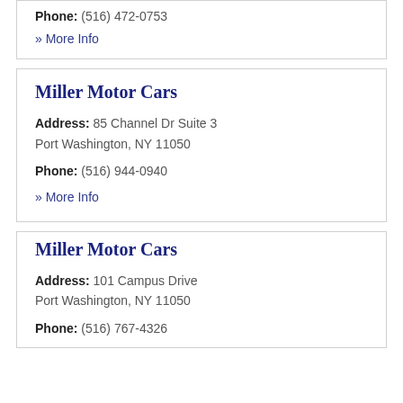Phone: (516) 472-0753
» More Info
Miller Motor Cars
Address: 85 Channel Dr Suite 3
Port Washington, NY 11050
Phone: (516) 944-0940
» More Info
Miller Motor Cars
Address: 101 Campus Drive
Port Washington, NY 11050
Phone: (516) 767-4326